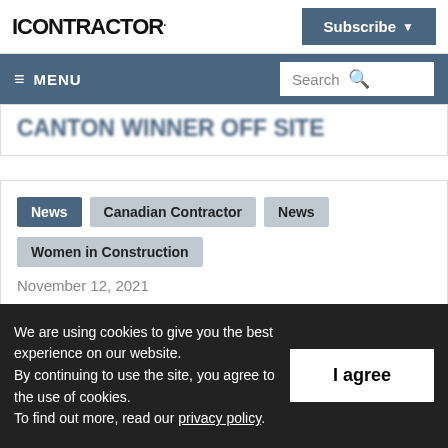CONTRACTOR
Subscribe
≡ MENU  Search
CANTON WINNER OFF SITE
News
Canadian Contractor
News
Women in Construction
November 12, 2021
We are using cookies to give you the best experience on our website.
By continuing to use the site, you agree to the use of cookies.
To find out more, read our privacy policy.
I agree